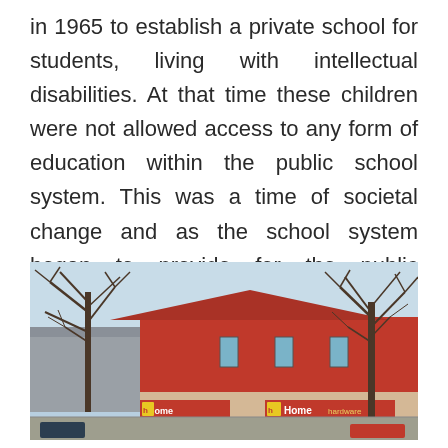in 1965 to establish a private school for students, living with intellectual disabilities. At that time these children were not allowed access to any form of education within the public school system. This was a time of societal change and as the school system began to provide for the public education of all children the parental organization changed its focus from providing education to provide housing.
[Figure (photo): Exterior photo of a commercial building with red siding, bare winter trees in the foreground, Home Hardware store signs visible on the storefront, light blue sky in the background.]